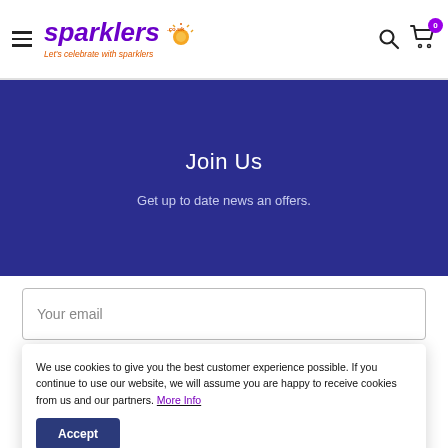sparklers.co.uk — Let's celebrate with sparklers
Join Us
Get up to date news an offers.
Your email
Subscribe
We use cookies to give you the best customer experience possible. If you continue to use our website, we will assume you are happy to receive cookies from us and our partners. More Info
Accept